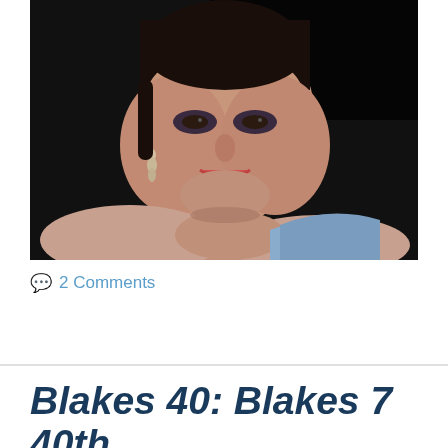[Figure (photo): A woman with short dark hair, dramatic eye makeup, and dangling earrings, smiling and resting her clasped hands near her chin, wearing an off-shoulder outfit against a dark background.]
2 Comments
Blakes 40: Blakes 7 40th